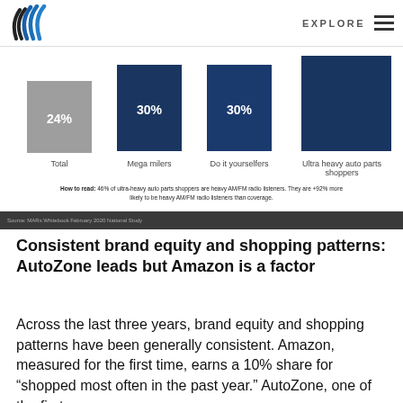EXPLORE
[Figure (bar-chart): Bar chart showing percentages for Total (24%, gray), Mega milers (30%, dark blue), Do it yourselfers (30%, dark blue), Ultra heavy auto parts shoppers (dark blue, value not visible)]
How to read: 46% of ultra-heavy auto parts shoppers are heavy AM/FM radio listeners. They are +92% more likely to be heavy AM/FM radio listeners than coverage.
Consistent brand equity and shopping patterns: AutoZone leads but Amazon is a factor
Across the last three years, brand equity and shopping patterns have been generally consistent. Amazon, measured for the first time, earns a 10% share for “shopped most often in the past year.” AutoZone, one of the first…